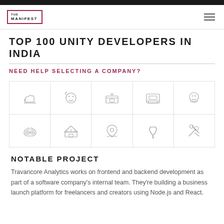THE MANIFEST
TOP 100 UNITY DEVELOPERS IN INDIA
NEED HELP SELECTING A COMPANY?
[Figure (illustration): Two rows of industry category icons: top row shows partial icons (tools/hand, mask, bed/furniture, computer/monitor, smiley face); bottom row shows gamepad/controller, bank/government building, location pin on open book, stethoscope, crossed tools/wrench.]
NOTABLE PROJECT
Travancore Analytics works on frontend and backend development as part of a software company's internal team. They're building a business launch platform for freelancers and creators using Node.js and React.